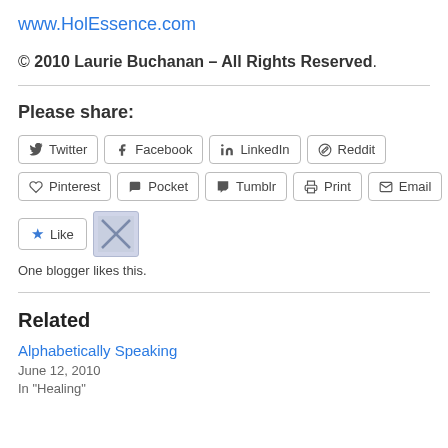www.HolEssence.com
© 2010 Laurie Buchanan – All Rights Reserved.
Please share:
[Figure (other): Social share buttons: Twitter, Facebook, LinkedIn, Reddit, Pinterest, Pocket, Tumblr, Print, Email]
[Figure (other): Like button with star icon and blogger avatar. One blogger likes this.]
One blogger likes this.
Related
Alphabetically Speaking
June 12, 2010
In "Healing"